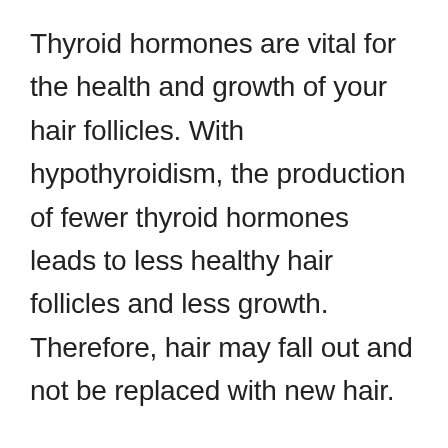Thyroid hormones are vital for the health and growth of your hair follicles. With hypothyroidism, the production of fewer thyroid hormones leads to less healthy hair follicles and less growth. Therefore, hair may fall out and not be replaced with new hair.
Signs of Hair Loss
Signs of hair loss include: